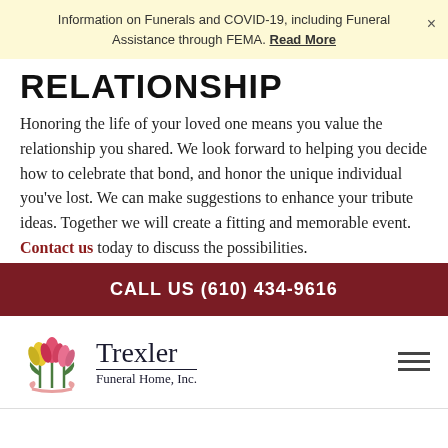Information on Funerals and COVID-19, including Funeral Assistance through FEMA. Read More
RELATIONSHIP
Honoring the life of your loved one means you value the relationship you shared. We look forward to helping you decide how to celebrate that bond, and honor the unique individual you've lost. We can make suggestions to enhance your tribute ideas. Together we will create a fitting and memorable event. Contact us today to discuss the possibilities.
CALL US (610) 434-9616
[Figure (logo): Trexler Funeral Home, Inc. logo with tulip flowers]
[Figure (other): Play button circle for video]